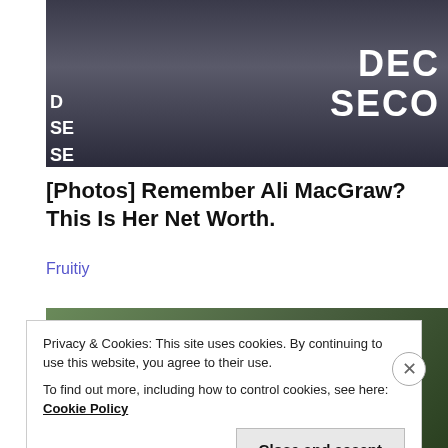[Figure (photo): A person in a dark suit and white shirt standing in front of a dark backdrop with large white letters 'DEC' and 'SECO' visible]
[Photos] Remember Ali MacGraw? This Is Her Net Worth.
Fruitiy
[Figure (photo): Outdoor photo showing green foliage and a wooden structure]
Privacy & Cookies: This site uses cookies. By continuing to use this website, you agree to their use.
To find out more, including how to control cookies, see here: Cookie Policy
Close and accept